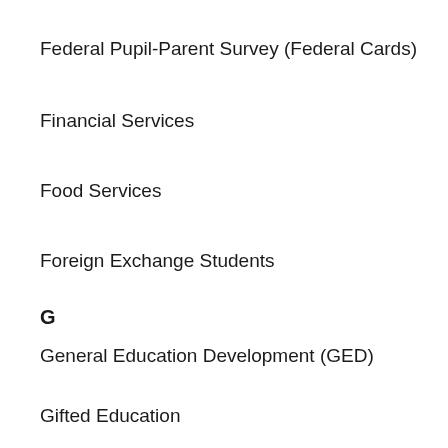Federal Pupil-Parent Survey (Federal Cards)
Financial Services
Food Services
Foreign Exchange Students
G
General Education Development (GED)
Gifted Education
Grant Development